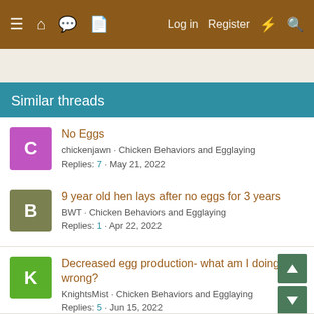≡ 🏠 💬 📄   Log in   Register   ⚡ 🔍
Similar threads
No Eggs
chickenjawn · Chicken Behaviors and Egglaying
Replies: 7 · May 21, 2022
9 year old hen lays after no eggs for 3 years
BWT · Chicken Behaviors and Egglaying
Replies: 1 · Apr 22, 2022
Decreased egg production- what am I doing wrong?
KnightsMist · Chicken Behaviors and Egglaying
Replies: 5 · Jun 15, 2022
Egg shell color and texture
Jayywhat · Chicken Behaviors and Egglaying
Replies: 13 · Apr 25, 2022